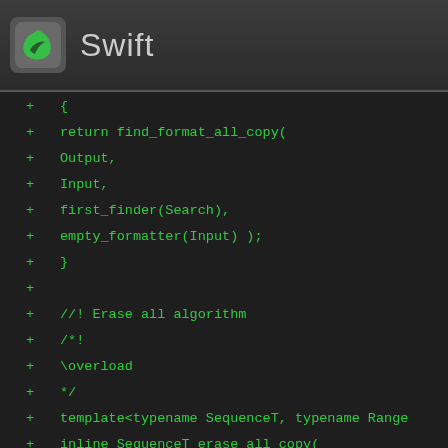Swift
{
    return find_format_all_copy(
        Output,
        Input,
        first_finder(Search),
        empty_formatter(Input) );
    }

    //! Erase all algorithm
    /*!
        \overload
    */
    template<typename SequenceT, typename Range
    inline SequenceT erase_all_copy(
        const SequenceT& Input,
        const RangeT& Search )
    {
        return find_format_all_copy(
            Input,
            first_finder(Search),